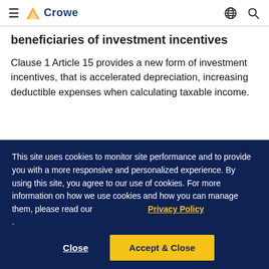Crowe
beneficiaries of investment incentives
Clause 1 Article 15 provides a new form of investment incentives, that is accelerated depreciation, increasing deductible expenses when calculating taxable income.
This site uses cookies to monitor site performance and to provide you with a more responsive and personalized experience. By using this site, you agree to our use of cookies. For more information on how we use cookies and how you can manage them, please read our Privacy Policy .
Close
Accept & Close